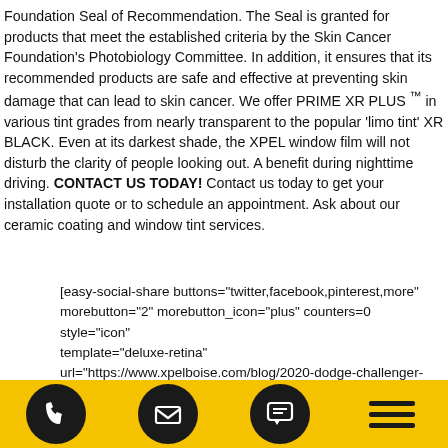Foundation Seal of Recommendation. The Seal is granted for products that meet the established criteria by the Skin Cancer Foundation's Photobiology Committee. In addition, it ensures that its recommended products are safe and effective at preventing skin damage that can lead to skin cancer. We offer PRIME XR PLUS ™ in various tint grades from nearly transparent to the popular 'limo tint' XR BLACK. Even at its darkest shade, the XPEL window film will not disturb the clarity of people looking out. A benefit during nighttime driving. CONTACT US TODAY!  Contact us today to get your installation quote or to schedule an appointment. Ask about our ceramic coating and window tint services.
[easy-social-share buttons="twitter,facebook,pinterest,more" morebutton="2" morebutton_icon="plus" counters=0 style="icon" template="deluxe-retina" url="https://www.xpelboise.com/blog/2020-dodge-challenger-rt-392-scatpack-xpel-uv-protective-prime-xr-plus-window-tint/" text="2020 Dodge Challenger RT 392 Scatpack Blocks Out 99% of UV Rays with XPEL PRIME XR PLUS Window Tint"]
2017 BMW X1 WRAPPED & PROTECTED WITH XPEL SELF-HEALING
[Figure (other): Yellow footer navigation bar with four circular dark icons: phone, email, chat/message, and hamburger menu.]